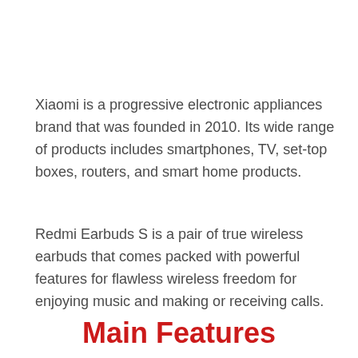Xiaomi is a progressive electronic appliances brand that was founded in 2010. Its wide range of products includes smartphones, TV, set-top boxes, routers, and smart home products.
Redmi Earbuds S is a pair of true wireless earbuds that comes packed with powerful features for flawless wireless freedom for enjoying music and making or receiving calls.
Main Features